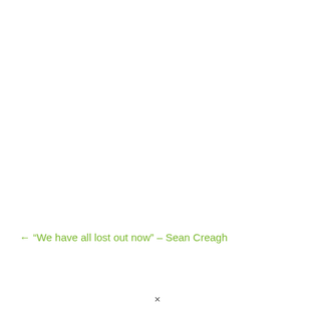← “We have all lost out now” – Sean Creagh
✕